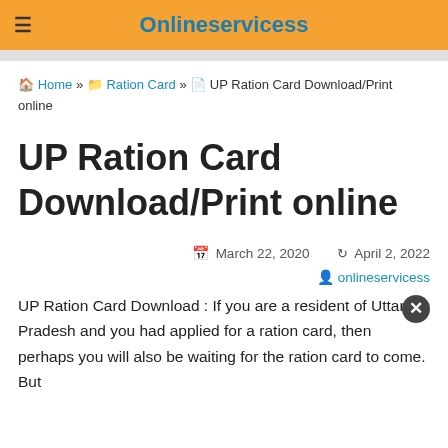Onlineservicess
Home » Ration Card » UP Ration Card Download/Print online
UP Ration Card Download/Print online
March 22, 2020   April 2, 2022
onlineservicess
UP Ration Card Download : If you are a resident of Uttar Pradesh and you had applied for a ration card, then perhaps you will also be waiting for the ration card to come. But